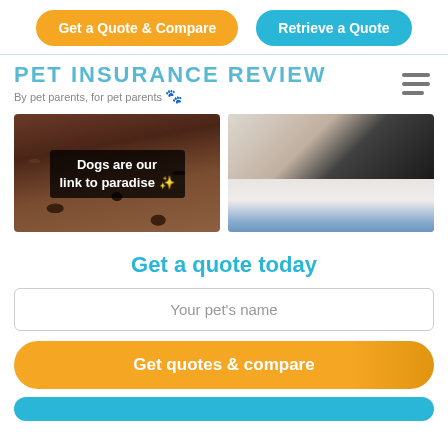Get a Quote & Compare | Retrieve a Quote
PET INSURANCE REVIEW
By pet parents, for pet parents 🐾
[Figure (photo): Left: a dirt/ground scene with overlaid text box reading 'Dogs are our link to paradise ✨'. Right: close-up of a dog's face (bulldog/pug nose area) with blue background.]
Get a quote today
Your pet's name
Get quotes & compare